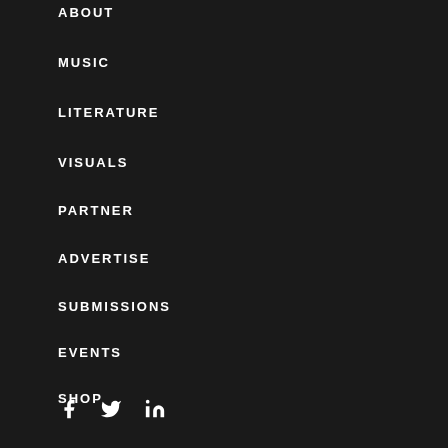ABOUT
MUSIC
LITERATURE
VISUALS
PARTNER
ADVERTISE
SUBMISSIONS
EVENTS
SHOP
[Figure (illustration): Social media icons: Facebook (f), Twitter (bird), LinkedIn (in)]